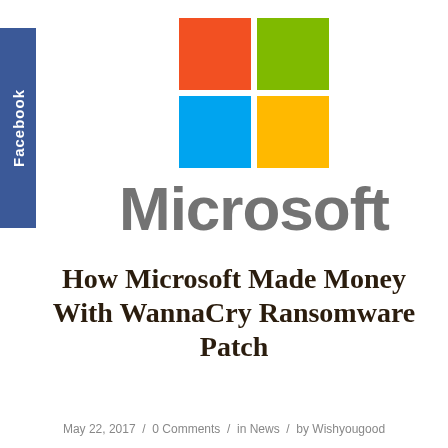[Figure (logo): Microsoft logo: four colored squares (red, green, blue, yellow) arranged in a 2x2 grid above the word 'Microsoft' in gray]
How Microsoft Made Money With WannaCry Ransomware Patch
May 22, 2017 / 0 Comments / in News / by Wishyougood